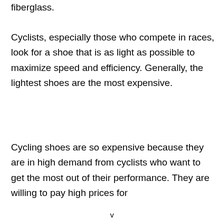fiberglass.
Cyclists, especially those who compete in races, look for a shoe that is as light as possible to maximize speed and efficiency. Generally, the lightest shoes are the most expensive.
Cycling shoes are so expensive because they are in high demand from cyclists who want to get the most out of their performance. They are willing to pay high prices for
v